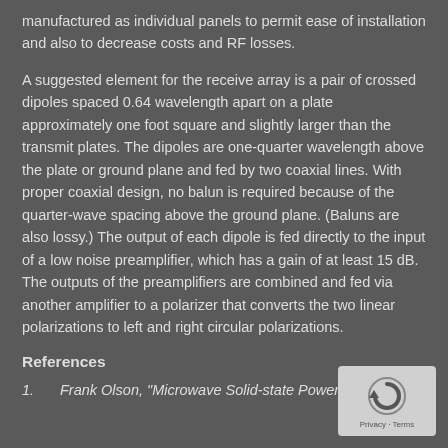manufactured as individual panels to permit ease of installation and also to decrease costs and RF losses.
A suggested element for the receive array is a pair of crossed dipoles spaced 0.64 wavelength apart on a plate approximately one foot square and slightly larger than the transmit plates. The dipoles are one-quarter wavelength above the plate or ground plane and fed by two coaxial lines. With proper coaxial design, no balun is required because of the quarter-wave spacing above the ground plane. (Baluns are also lossy.) The output of each dipole is fed directly to the input of a low noise preamplifier, which has a gain of at least 15 dB. The outputs of the preamplifiers are combined and fed via another amplifier to a polarizer that converts the two linear polarizations to left and right circular polarizations.
References
1.        Frank Olson, "Microwave Solid-state Power